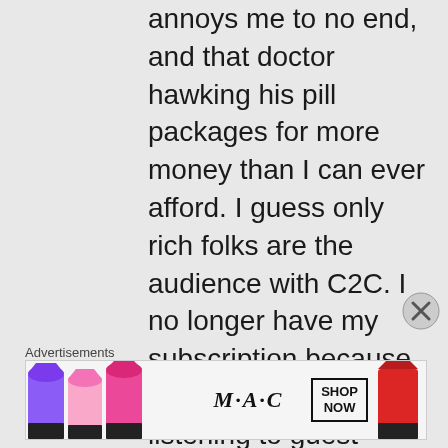annoys me to no end, and that doctor hawking his pill packages for more money than I can ever afford. I guess only rich folks are the audience with C2C. I no longer have my subscription because because I only enjoy listening to guest hosts and it's just not worth it. I went with Dave Schrader; M.I.T.D. who is an excellent host!!! Mr. Noory will be in the middle of a very
Advertisements
[Figure (other): MAC cosmetics advertisement banner showing colorful lipsticks with MAC logo and SHOP NOW button]